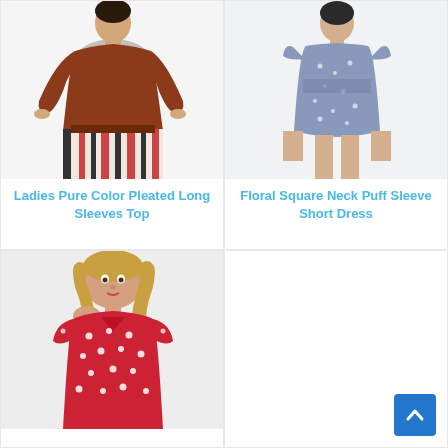[Figure (photo): Woman wearing a brown long-sleeve pleated top with striped skirt against white background]
Ladies Pure Color Pleated Long Sleeves Top
[Figure (photo): Woman wearing a floral square neck puff sleeve short dress against white background]
Floral Square Neck Puff Sleeve Short Dress
[Figure (photo): Woman wearing a red polka dot short dress against light background]